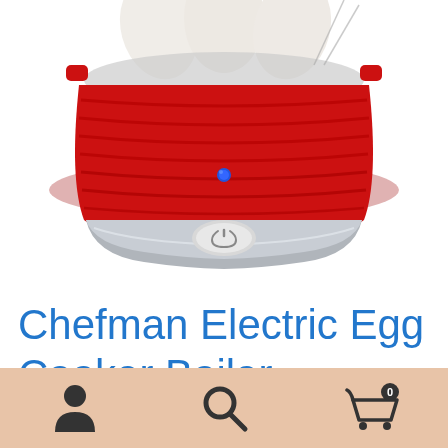[Figure (photo): Red Chefman electric egg cooker boiler with ridged red body, silver chrome band at base, white power button, blue LED indicator light, and white eggs visible in the top tray. White background.]
Chefman Electric Egg Cooker Boiler
[Figure (infographic): Bottom navigation bar with peach/salmon background containing three icons: person/user icon on the left, search/magnifying glass icon in the center, and shopping cart icon with '0' badge on the right.]